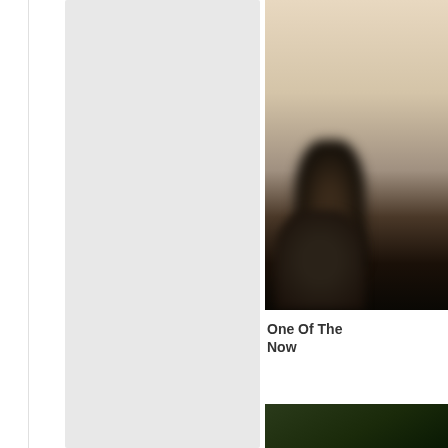[Figure (photo): Partial view of a webpage layout. Left side shows a large light gray rectangular block. Center is white space. Right side shows a cropped photo with beige/cream wall background and a blurred dark figure at bottom, with bold text 'One Of The... Now' below it, and a second partially visible photo of dark foliage/branches at the bottom right.]
One Of The
Now